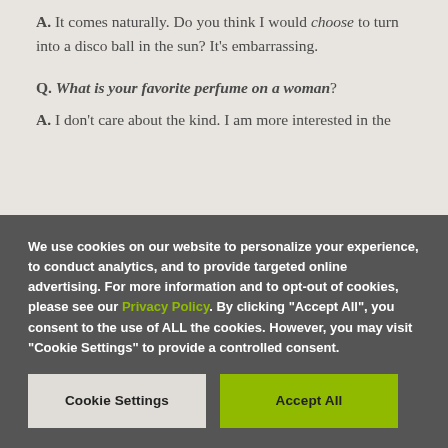A. It comes naturally. Do you think I would choose to turn into a disco ball in the sun? It's embarrassing.
Q. What is your favorite perfume on a woman?
A. I don't care about the kind. I am more interested in the
We use cookies on our website to personalize your experience, to conduct analytics, and to provide targeted online advertising. For more information and to opt-out of cookies, please see our Privacy Policy. By clicking "Accept All", you consent to the use of ALL the cookies. However, you may visit "Cookie Settings" to provide a controlled consent.
Cookie Settings
Accept All